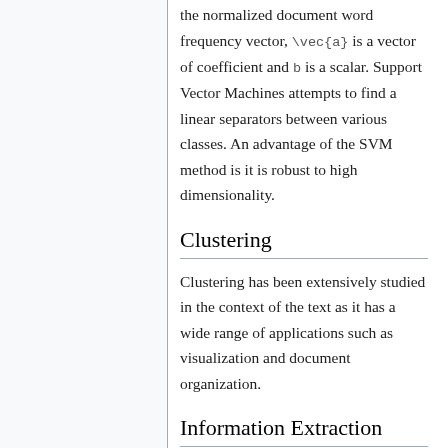the normalized document word frequency vector, \vec{a} is a vector of coefficient and b is a scalar. Support Vector Machines attempts to find a linear separators between various classes. An advantage of the SVM method is it is robust to high dimensionality.
Clustering
Clustering has been extensively studied in the context of the text as it has a wide range of applications such as visualization and document organization.
Information Extraction
Information Extraction (IE) is the process of extracting useful, structured information from unstructured or semi-structured text. It automatically extracts